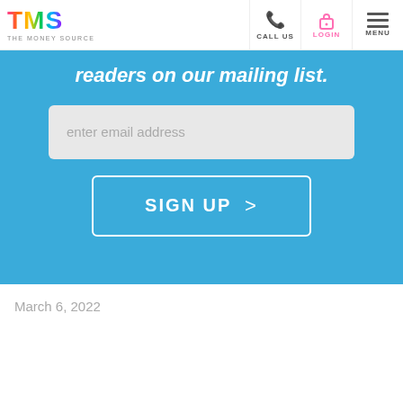TMS THE MONEY SOURCE | CALL US | LOGIN | MENU
readers on our mailing list.
enter email address
SIGN UP  >
March 6, 2022